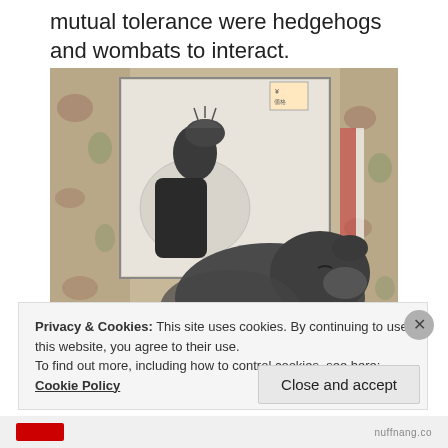mutual tolerance were hedgehogs and wombats to interact.
[Figure (photo): A wombat resting in front of a framed black-and-white illustration of a hedgehog, surrounded by floral fabric/tapestry.]
Privacy & Cookies: This site uses cookies. By continuing to use this website, you agree to their use.
To find out more, including how to control cookies, see here: Cookie Policy
Close and accept